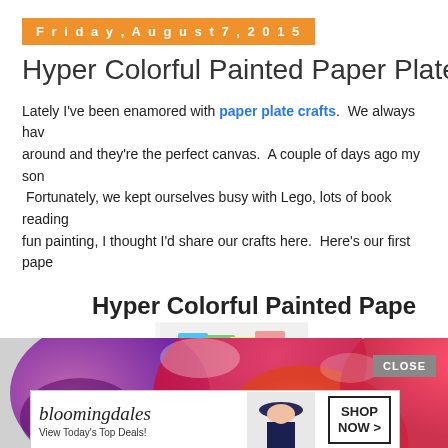Friday, August 7, 2015
Hyper Colorful Painted Paper Plate Flow
Lately I've been enamored with paper plate crafts.  We always hav around and they're the perfect canvas.  A couple of days ago my son  Fortunately, we kept ourselves busy with Lego, lots of book reading fun painting, I thought I'd share our crafts here.  Here's our first pape
Hyper Colorful Painted Pape
[Figure (infographic): Advertisement showing colorful stackable storage bags with text '37 HOME AND KITCHEN EVERYONE SHOULD']
[Figure (photo): Colorful painted paper plate flowers in vibrant pink, purple, red and orange hues]
[Figure (infographic): Bloomingdales advertisement: logo, 'View Today's Top Deals!' and 'SHOP NOW >' button with woman in hat image]